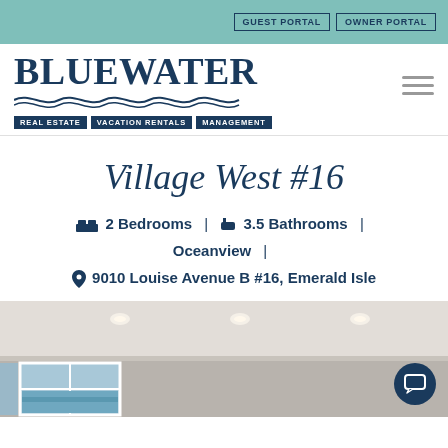GUEST PORTAL | OWNER PORTAL
[Figure (logo): Bluewater Real Estate Vacation Rentals Management logo with wave graphic]
Village West #16
2 Bedrooms | 3.5 Bathrooms | Oceanview | 9010 Louise Avenue B #16, Emerald Isle
[Figure (photo): Interior room photo showing ceiling with recessed lighting and windows]